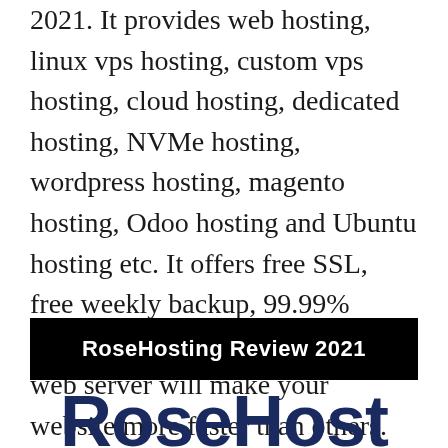2021. It provides web hosting, linux vps hosting, custom vps hosting, cloud hosting, dedicated hosting, NVMe hosting, wordpress hosting, magento hosting, Odoo hosting and Ubuntu hosting etc. It offers free SSL, free weekly backup, 99.99% uptime with hosting. LiteSpeed web server will make your website more faster than others.
RoseHosting Review 2021
RoseHost